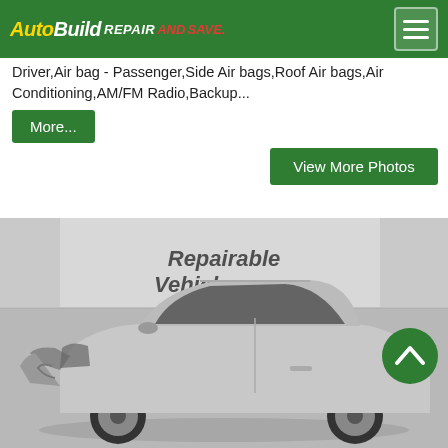AutoBuild Repair and Save
Driver,Air bag - Passenger,Side Air bags,Roof Air bags,Air Conditioning,AM/FM Radio,Backup...
More...
View More Photos
[Figure (photo): Damaged silver Honda HR-V SUV with front-end collision damage, photographed in a garage/showroom setting. Watermark reads 'Repairable Vehicles.com'. Green scroll-up button visible on right side.]